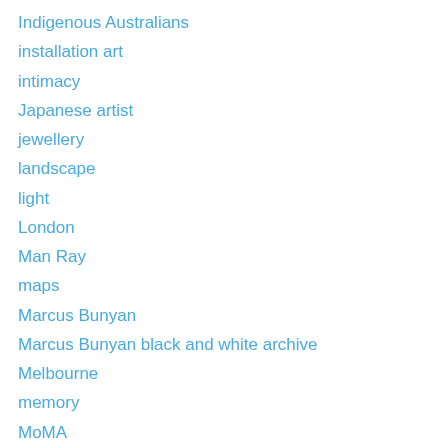Indigenous Australians
installation art
intimacy
Japanese artist
jewellery
landscape
light
London
Man Ray
maps
Marcus Bunyan
Marcus Bunyan black and white archive
Melbourne
memory
MoMA
Monash Gallery of Art
National Gallery of Victoria
New York
painting
Paris